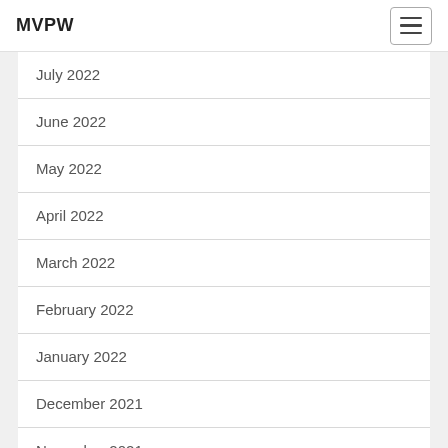MVPW
July 2022
June 2022
May 2022
April 2022
March 2022
February 2022
January 2022
December 2021
November 2021
October 2021